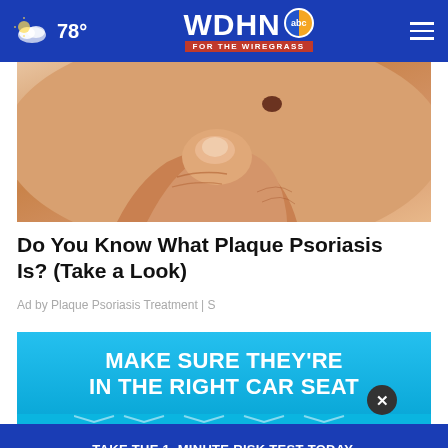78° WDHN abc FOR THE WIREGRASS
[Figure (photo): Close-up photo of fingers touching a skin mole/spot on human skin]
Do You Know What Plaque Psoriasis Is? (Take a Look)
Ad by Plaque Psoriasis Treatment | S
[Figure (infographic): Blue advertisement banner reading MAKE SURE THEY'RE IN THE RIGHT CAR SEAT with car seat safety chevron graphics]
[Figure (infographic): Dark blue advertisement banner: TAKE THE 1-MINUTE RISK TEST TODAY. DolHavePrediabetes.org with ad council, AMA, CDC logos]